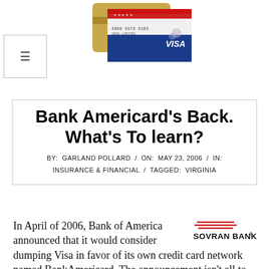[Figure (photo): Credit card image showing a Visa card at the top of the page]
≡
Bank Americard's Back. What's To learn?
BY: GARLAND POLLARD / ON: MAY 23, 2006 / IN: INSURANCE & FINANCIAL / TAGGED: VIRGINIA
[Figure (logo): Sovran Bank logo with red horizontal lines above the text]
In April of 2006, Bank of America announced that it would consider dumping Visa in favor of its own credit card network named BankAmericard. The announcement isn't all to the story. Because actually, Bank of Americard sort of brought the